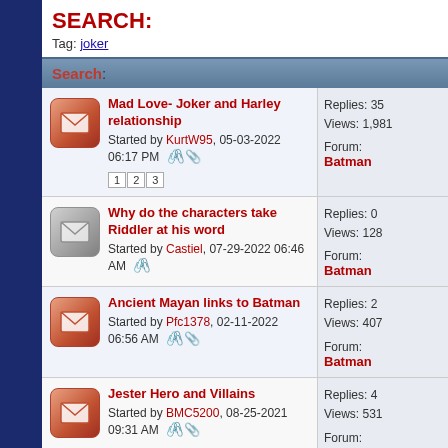SEARCH:
Tag: joker
Search:
Mad Love- Joker and Harley relationship
Started by KurtW95, 05-03-2022 06:17 PM
1 2 3
Replies: 35
Views: 1,981
Forum: Batman
Why do the characters take Riddler at his word
Started by Castiel, 07-29-2022 06:46 AM
Replies: 0
Views: 128
Forum: Batman
Ancient Mayan links to Batman
Started by Pfc1378, 02-11-2022 06:56 AM
Replies: 2
Views: 407
Forum: Batman
Jester Hero and Villains
Started by BMC5200, 08-25-2021 09:31 AM
Replies: 4
Views: 531
Forum: CBR Com...